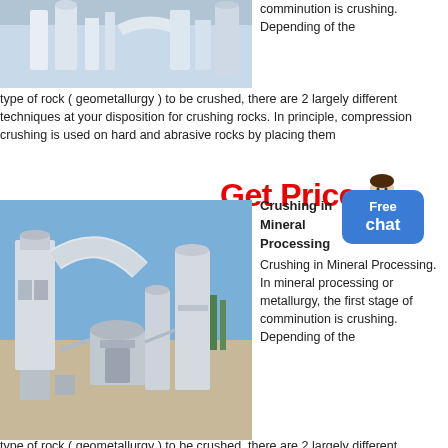[Figure (photo): Industrial mineral processing machinery with large white pipes and silos inside a facility]
comminution is crushing. Depending of the type of rock ( geometallurgy ) to be crushed, there are 2 largely different techniques at your disposition for crushing rocks. In principle, compression crushing is used on hard and abrasive rocks by placing them
[Figure (other): Get Price button with customer service avatar]
[Figure (photo): Outdoor mineral processing plant with white industrial equipment, conveyors, and silos against a blue sky]
Crushing in Mineral Processing
Crushing in Mineral Processing. In mineral processing or metallurgy, the first stage of comminution is crushing. Depending of the type of rock
type of rock ( geometallurgy ) to be crushed, there are 2 largely different